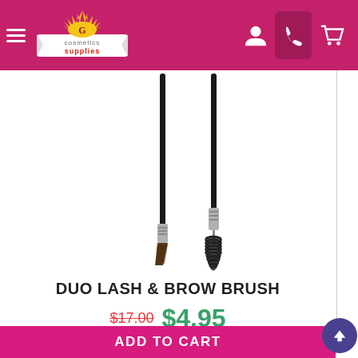Gold Cosmetics Supplies — navigation header with logo, hamburger menu, user icon, phone icon, cart icon
[Figure (photo): Two makeup brushes on white background: an angled brow/liner brush on the left and a spoolie/mascara wand brush on the right, both with black handles and silver ferrules]
DUO LASH & BROW BRUSH
$17.00  $4.95
Best Offer!
ADD TO CART